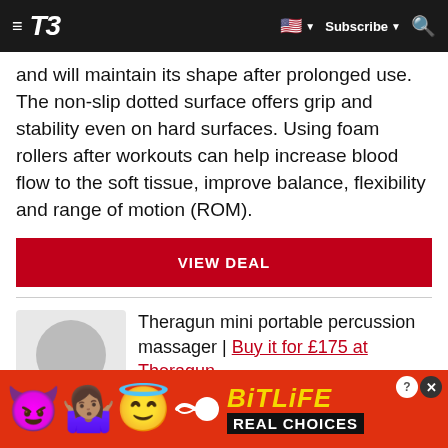≡ T3  [US flag] ▼  Subscribe ▼  🔍
and will maintain its shape after prolonged use. The non-slip dotted surface offers grip and stability even on hard surfaces. Using foam rollers after workouts can help increase blood flow to the soft tissue, improve balance, flexibility and range of motion (ROM).
VIEW DEAL
Theragun mini portable percussion massager | Buy it for £175 at Theragun
[Figure (other): BitLife game advertisement banner with devil emoji, woman shrugging emoji, angel emoji, and sperm emoji. Text reads BITLIFE REAL CHOICES on red background.]